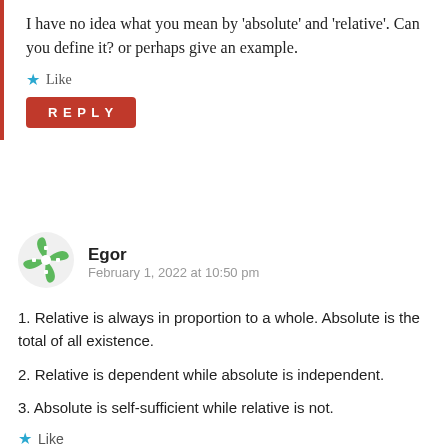I have no idea what you mean by 'absolute' and 'relative'. Can you define it? or perhaps give an example.
Like
REPLY
[Figure (illustration): Green and white pinwheel/windmill avatar icon for user Egor]
Egor
February 1, 2022 at 10:50 pm
1. Relative is always in proportion to a whole. Absolute is the total of all existence.
2. Relative is dependent while absolute is independent.
3. Absolute is self-sufficient while relative is not.
Like
REPLY